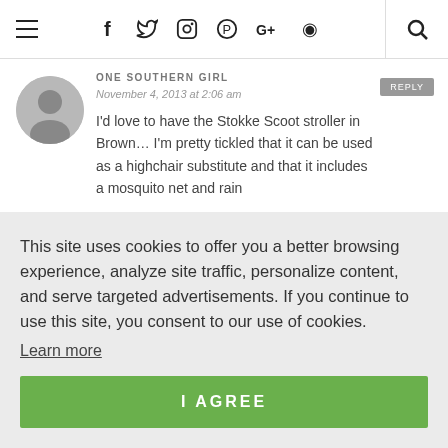≡  f  𝕏  📷  𝕡  G+  ◉  🔍
ONE SOUTHERN GIRL
November 4, 2013 at 2:06 am
I'd love to have the Stokke Scoot stroller in Brown... I'm pretty tickled that it can be used as a highchair substitute and that it includes a mosquito net and rain
This site uses cookies to offer you a better browsing experience, analyze site traffic, personalize content, and serve targeted advertisements. If you continue to use this site, you consent to our use of cookies.
Learn more
I AGREE